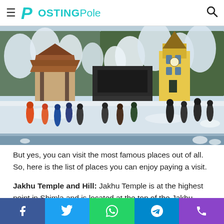PostingPole
[Figure (photo): Snowy winter scene in Shimla showing people walking in a town square with snow-covered trees, a yellow church/clock tower building, and a traditional pagoda-style structure in the background.]
But yes, you can visit the most famous places out of all. So, here is the list of places you can enjoy paying a visit.
Jakhu Temple and Hill: Jakhu Temple is at the highest point in Shimla and is located at the top of the Jakhu Hills. People often prefer to trek through the Jakhu hills to reach the Jakhu